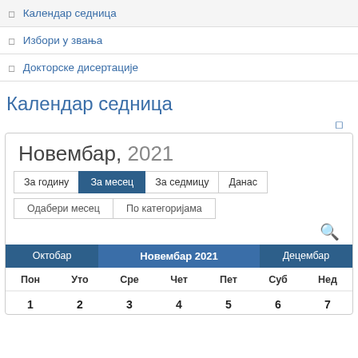Календар седница
Избори у звања
Докторске дисертације
Календар седница
[Figure (screenshot): Calendar widget showing Новембар 2021 with navigation buttons За годину, За месец (active), За седмицу, Данас, and rows Одабери месец, По категоријама. Navigation row: Октобар | Новембар 2021 | Децембар. Day headers: Пон, Уто, Сре, Чет, Пет, Суб, Нед. Week row: 1, 2, 3, 4, 5, 6, 7.]